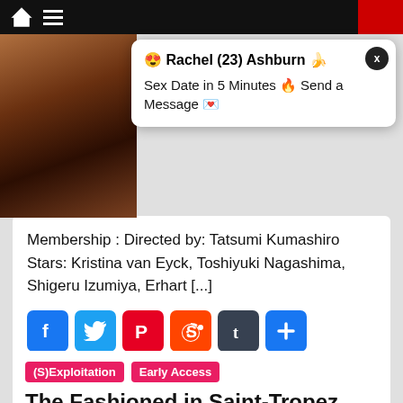[Figure (screenshot): Navigation bar with house icon and hamburger menu on dark background]
[Figure (photo): Thumbnail photo of a woman used in advertisement popup]
😍 Rachel (23) Ashburn 🍌
Sex Date in 5 Minutes 🔥 Send a Message 💌
Membership : Directed by: Tatsumi Kumashiro Stars: Kristina van Eyck, Toshiyuki Nagashima, Shigeru Izumiya, Erhart [...]
[Figure (infographic): Social share buttons: Facebook, Twitter, Pinterest, Reddit, Tumblr, More]
(S)Exploitation   Early Access
The Fashioned in Saint-Tropez (1983) watch uncut